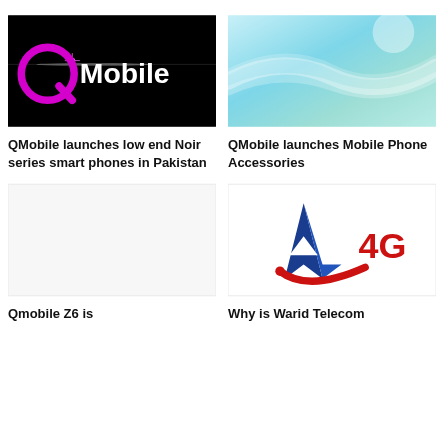[Figure (logo): QMobile logo on black background with pink/magenta Q symbol and white 'Mobile' text with lens flare effect]
QMobile launches low end Noir series smart phones in Pakistan
[Figure (photo): Abstract teal/cyan blue wavy light streaks background image]
QMobile launches Mobile Phone Accessories
[Figure (illustration): Blank white/light grey placeholder image]
Qmobile Z6 is
[Figure (logo): Warid Telecom 4G logo with blue arrow/A shape and red swoosh, '4G' text in red]
Why is Warid Telecom